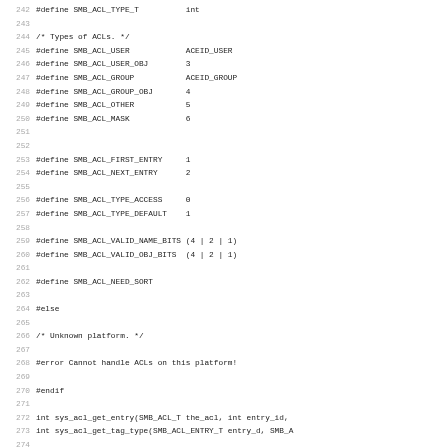[Figure (screenshot): Source code listing showing C preprocessor defines for SMB ACL types, entries, and related macros, with line numbers 242-274.]